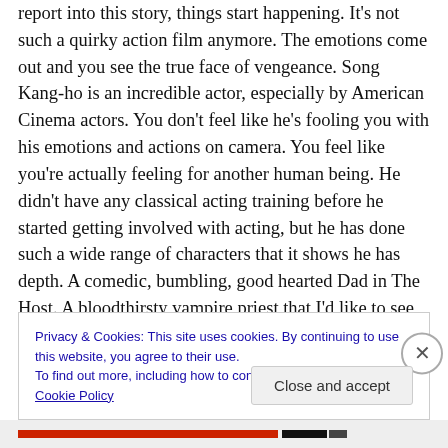report into this story, things start happening. It's not such a quirky action film anymore. The emotions come out and you see the true face of vengeance. Song Kang-ho is an incredible actor, especially by American Cinema actors. You don't feel like he's fooling you with his emotions and actions on camera. You feel like you're actually feeling for another human being. He didn't have any classical acting training before he started getting involved with acting, but he has done such a wide range of characters that it shows he has depth. A comedic, bumbling, good hearted Dad in The Host. A bloodthirsty vampire priest that I'd like to see
Privacy & Cookies: This site uses cookies. By continuing to use this website, you agree to their use.
To find out more, including how to control cookies, see here: Cookie Policy
Close and accept